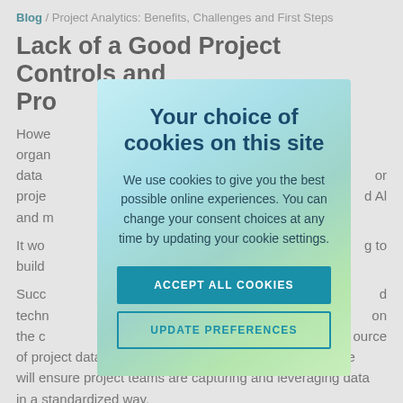Blog / Project Analytics: Benefits, Challenges and First Steps
Lack of a Good Project Controls and Pro[ject...]
Howe[ver...] organ[izations...] data [...] or proje[ct...] d AI and m[...]
It wo[uld...] g to build[...]
Succ[ess...] d techn[ology...] on the c[...] ource of project data. Platform-based on industry good practice will ensure project teams are capturing and leveraging data in a standardized way.
[Figure (screenshot): Cookie consent modal dialog with gradient blue-green background. Title: 'Your choice of cookies on this site'. Body text: 'We use cookies to give you the best possible online experiences. You can change your consent choices at any time by updating your cookie settings.' Two buttons: 'ACCEPT ALL COOKIES' (filled teal) and 'UPDATE PREFERENCES' (outlined teal).]